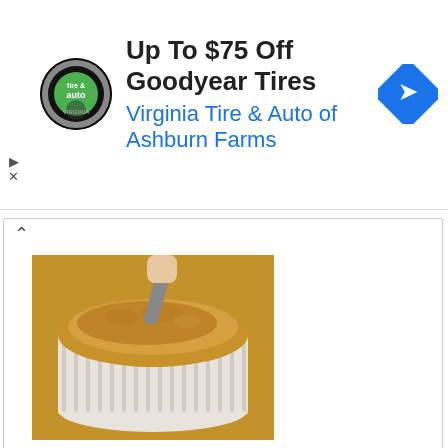[Figure (screenshot): Advertisement banner for Virginia Tire & Auto of Ashburn Farms showing circular logo, text 'Up To $75 Off Goodyear Tires' and 'Virginia Tire & Auto of Ashburn Farms', and a blue diamond navigation icon]
[Figure (photo): Photo of a soufflé or baked dish in a white ribbed ramekin dish, being served with a spoon, on a wooden surface]